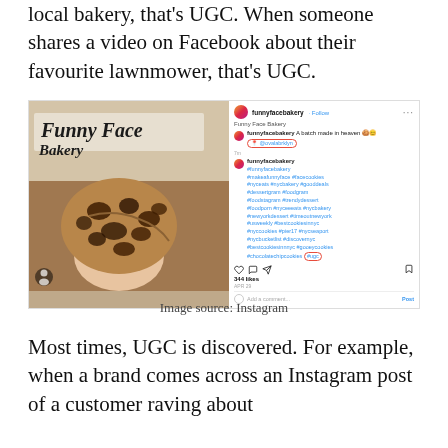local bakery, that's UGC. When someone shares a video on Facebook about their favourite lawnmower, that's UGC.
[Figure (screenshot): Screenshot of an Instagram post from funnyfacebakery showing a hand holding a large chocolate chip cookie in front of a Funny Face Bakery storefront, with hashtags including #ugc circled in red, and @ovalabrklyn tagged and circled in red. 344 likes shown.]
Image source: Instagram
Most times, UGC is discovered. For example, when a brand comes across an Instagram post of a customer raving about